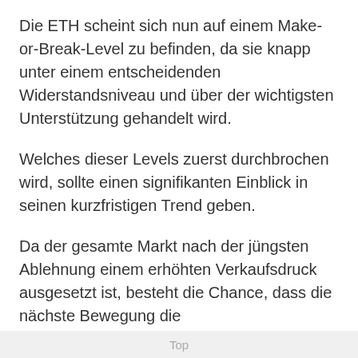Die ETH scheint sich nun auf einem Make-or-Break-Level zu befinden, da sie knapp unter einem entscheidenden Widerstandsniveau und über der wichtigsten Unterstützung gehandelt wird.
Welches dieser Levels zuerst durchbrochen wird, sollte einen signifikanten Einblick in seinen kurzfristigen Trend geben.
Da der gesamte Markt nach der jüngsten Ablehnung einem erhöhten Verkaufsdruck ausgesetzt ist, besteht die Chance, dass die nächste Bewegung die
Top